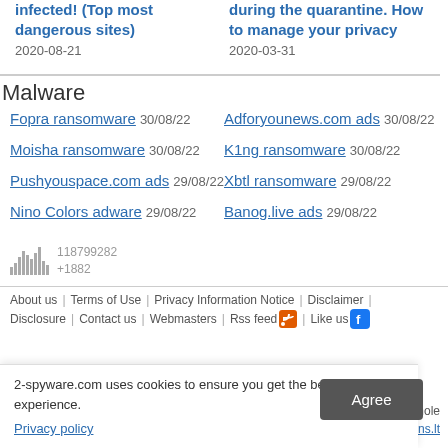infected! (Top most dangerous sites)
2020-08-21
during the quarantine. How to manage your privacy
2020-03-31
Malware
Fopra ransomware 30/08/22
Adforyounews.com ads 30/08/22
Moisha ransomware 30/08/22
K1ng ransomware 30/08/22
Pushyouspace.com ads 29/08/22
Xbtl ransomware 29/08/22
Nino Colors adware 29/08/22
Banog.live ads 29/08/22
About us | Terms of Use | Privacy Information Notice | Disclaimer | Disclosure | Contact us | Webmasters | Rss feed | Like us
2-spyware.com uses cookies to ensure you get the best experience.
Privacy policy
duction in part or whole by esolutions.lt